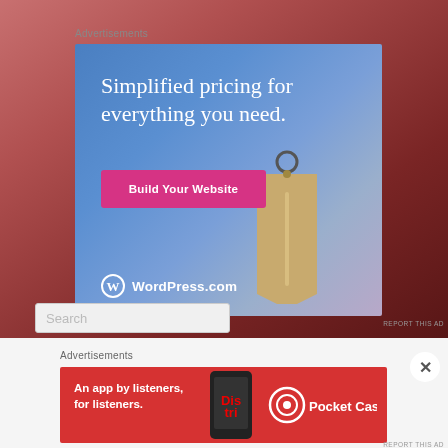Advertisements
[Figure (illustration): WordPress.com advertisement with blue-purple gradient background. Large white serif text reads 'Simplified pricing for everything you need.' A pink/magenta button reads 'Build Your Website'. A golden price tag illustration hangs in the right portion. WordPress logo (W in circle) with 'WordPress.com' text at the bottom left.]
Report This Ad
Search
Advertisements
[Figure (illustration): Pocket Casts advertisement on red background. Text reads 'An app by listeners, for listeners.' Pocket Casts logo on right side. Phone image in center.]